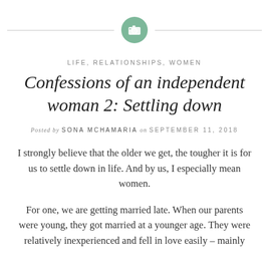[Figure (illustration): Camera icon inside a teal/green circle with horizontal lines extending left and right]
LIFE, RELATIONSHIPS, WOMEN
Confessions of an independent woman 2: Settling down
Posted by SONA MCHAMARIA on SEPTEMBER 11, 2018
I strongly believe that the older we get, the tougher it is for us to settle down in life. And by us, I especially mean women.
For one, we are getting married late. When our parents were young, they got married at a younger age. They were relatively inexperienced and fell in love easily – mainly